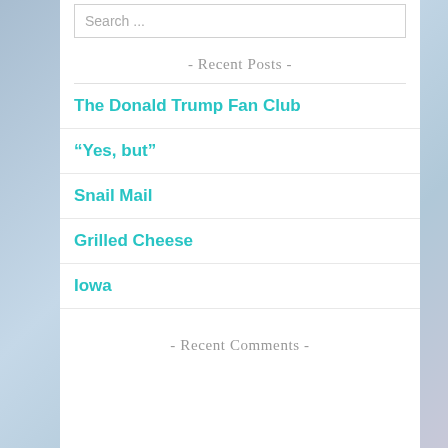Search ...
- Recent Posts -
The Donald Trump Fan Club
“Yes, but”
Snail Mail
Grilled Cheese
Iowa
- Recent Comments -